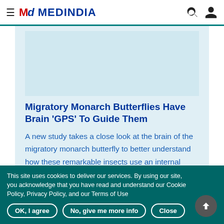≡ MD MEDINDIA
[Figure (illustration): Light blue advertisement/content placeholder area]
Migratory Monarch Butterflies Have Brain 'GPS' To Guide Them
A new study takes a close look at the brain of the migratory monarch butterfly to better understand how these remarkable insects use an internal compass and skylight cues to navigate
This site uses cookies to deliver our services. By using our site, you acknowledge that you have read and understand our Cookie Policy, Privacy Policy, and our Terms of Use